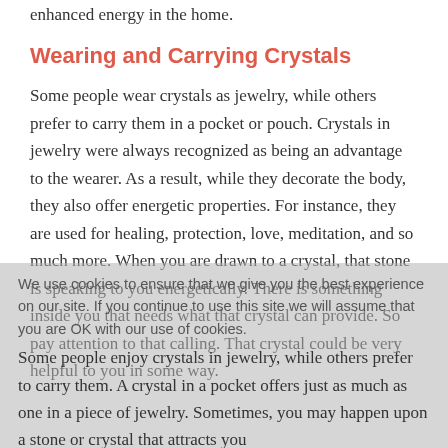enhanced energy in the home.
Wearing and Carrying Crystals
Some people wear crystals as jewelry, while others prefer to carry them in a pocket or pouch. Crystals in jewelry were always recognized as being an advantage to the wearer. As a result, while they decorate the body, they also offer energetic properties. For instance, they are used for healing, protection, love, meditation, and so much more. When you are drawn to a crystal, that stone is speaking to you energetically. There is something inside you that needs what that crystal can provide. So pay attention to that calling. That crystal could be very helpful to you in some way.
We use cookies to ensure that we give you the best experience on our site. If you continue to use this site we will assume that you are OK with our use of cookies.
Some people enjoy crystals in jewelry, while others prefer to carry them. A crystal in a pocket offers just as much as one in a piece of jewelry. Sometimes, you may happen upon a stone or crystal that attracts you